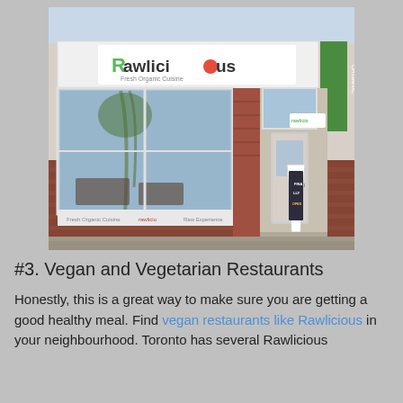[Figure (photo): Exterior photo of Rawlicious restaurant storefront. A brick building with large windows reflecting trees and sky. White sign with green and red text reading 'Rawlicious Fresh Organic Cuisine'. An A-frame sidewalk sign reads 'FINALLY OPEN'. A green vertical banner is visible on the right side.]
#3. Vegan and Vegetarian Restaurants
Honestly, this is a great way to make sure you are getting a good healthy meal. Find vegan restaurants like Rawlicious in your neighbourhood. Toronto has several Rawlicious